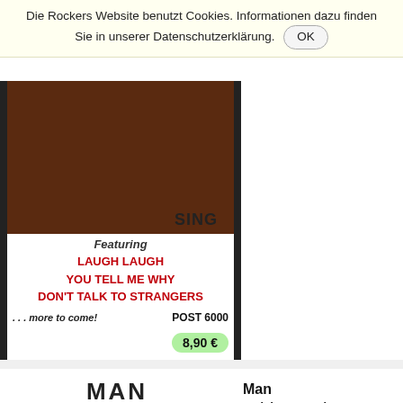Die Rockers Website benutzt Cookies. Informationen dazu finden Sie in unserer Datenschutzerklärung. OK
[Figure (photo): Album cover spine/back showing 'SING' label with brown rectangle, text 'Featuring LAUGH LAUGH, YOU TELL ME WHY, DON'T TALK TO STRANGERS', '... more to come!', 'POST 6000', price badge '8,90 €']
[Figure (photo): MAN band album cover showing 'MAN' text in bold letters above a photo of band members with warm yellow/orange background]
Man
Friday 13th
1×LP (Vinyl) · Album, LP
signed by Deke